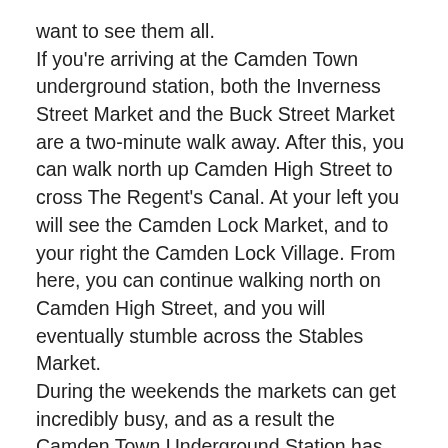want to see them all.
If you're arriving at the Camden Town underground station, both the Inverness Street Market and the Buck Street Market are a two-minute walk away. After this, you can walk north up Camden High Street to cross The Regent's Canal. At your left you will see the Camden Lock Market, and to your right the Camden Lock Village. From here, you can continue walking north on Camden High Street, and you will eventually stumble across the Stables Market.
During the weekends the markets can get incredibly busy, and as a result the Camden Town Underground Station has limited escalator services between 10 a.m. and 5 p.m. on Saturdays, and 10 a.m. to 11 p.m. on Sundays. If you do arrive at this station on these days, access is via a spiral staircase, and on Sundays the station exit is only between 1 p.m. and 5 p.m. In any